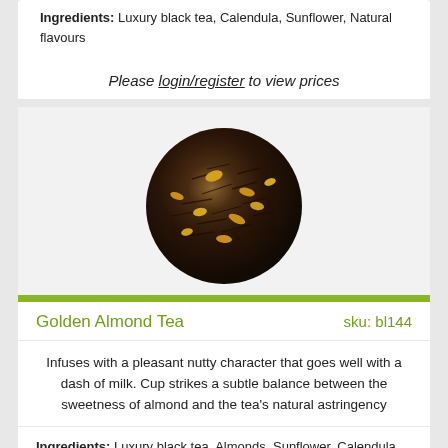Ingredients: Luxury black tea, Calendula, Sunflower, Natural flavours
Please login/register to view prices
[Figure (photo): A pile of Golden Almond black loose leaf tea with visible almond pieces and flower petals, shaped in a circular mound on a white background.]
Golden Almond Tea   sku: bl144
Infuses with a pleasant nutty character that goes well with a dash of milk. Cup strikes a subtle balance between the sweetness of almond and the tea's natural astringency
Ingredients: Luxury black tea, Almonds, Sunflower, Calendula, Natural flavours